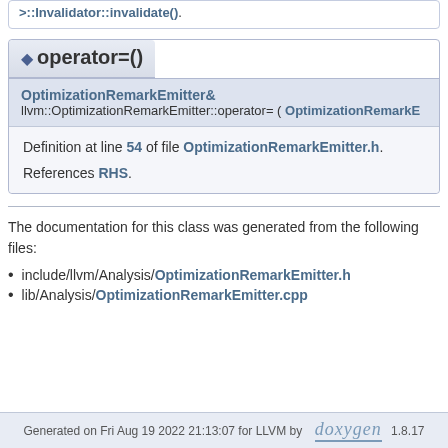References A, and AnalysisManager< IRUnit, ExtraArgTs >::Invalidator::invalidate().
operator=()
OptimizationRemarkEmitter& llvm::OptimizationRemarkEmitter::operator= ( OptimizationRemarkE…
Definition at line 54 of file OptimizationRemarkEmitter.h.
References RHS.
The documentation for this class was generated from the following files:
include/llvm/Analysis/OptimizationRemarkEmitter.h
lib/Analysis/OptimizationRemarkEmitter.cpp
Generated on Fri Aug 19 2022 21:13:07 for LLVM by doxygen 1.8.17